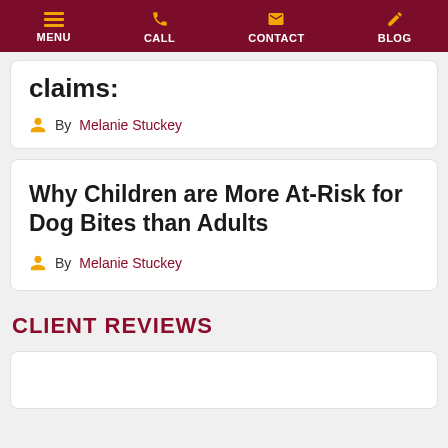MENU  CALL  CONTACT  BLOG
claims:
By Melanie Stuckey
Why Children are More At-Risk for Dog Bites than Adults
By Melanie Stuckey
CLIENT REVIEWS